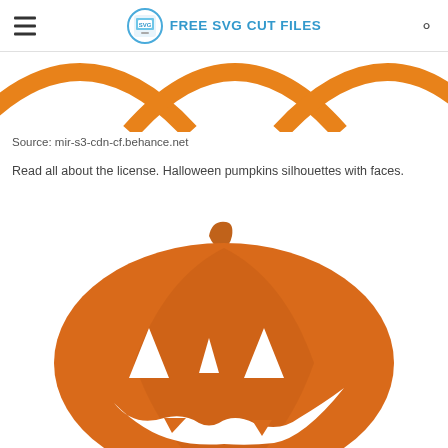FREE SVG CUT FILES
[Figure (illustration): Partial view of orange pumpkin outlines/silhouettes along the top edge of the page]
Source: mir-s3-cdn-cf.behance.net
Read all about the license. Halloween pumpkins silhouettes with faces.
[Figure (illustration): Orange jack-o-lantern pumpkin silhouette with triangular eyes and a wide jagged smile, shown from the top portion]